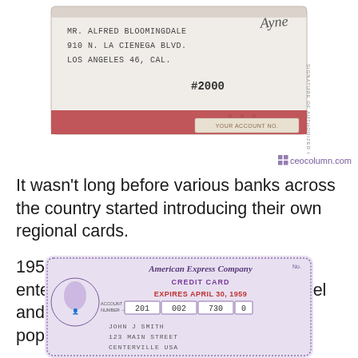[Figure (photo): Top portion of an old credit card or charge plate showing: MR. ALFRED BLOOMINGDALE, 910 N. LA CIENEGA BLVD., LOS ANGELES 46, CAL., #2000, with a signature and 'YOUR ACCOUNT NO.' label, red/pink border]
[Figure (logo): ceocolumn.com watermark logo with small grid icon]
It wasn't long before various banks across the country started introducing their own regional cards.
1958 is when American Express first entered the market with this purple travel and entertainment card, this thing got popular so quick.
[Figure (photo): Early American Express Company Credit Card, purple/lavender colored, with text: American Express Company, CREDIT CARD, EXPIRES APRIL 30, 1959, ACCOUNT NUMBER -> 201 | 002 | 730 | 0, JOHN J SMITH, 123 MAIN STREET, CENTERVILLE USA]